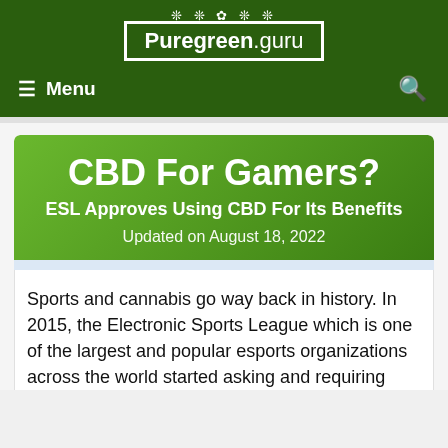[Figure (logo): Puregreen.guru website logo with cannabis leaf snowflake decorations, white text on dark green background with white border box]
≡ Menu  🔍
CBD For Gamers?
ESL Approves Using CBD For Its Benefits
Updated on August 18, 2022
Sports and cannabis go way back in history. In 2015, the Electronic Sports League which is one of the largest and popular esports organizations across the world started asking and requiring